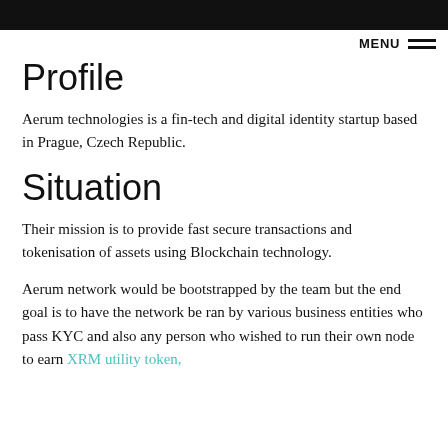MENU
Profile
Aerum technologies is a fin-tech and digital identity startup based in Prague, Czech Republic.
Situation
Their mission is to provide fast secure transactions and tokenisation of assets using Blockchain technology.
Aerum network would be bootstrapped by the team but the end goal is to have the network be ran by various business entities who pass KYC and also any person who wished to run their own node to earn XRM utility token,